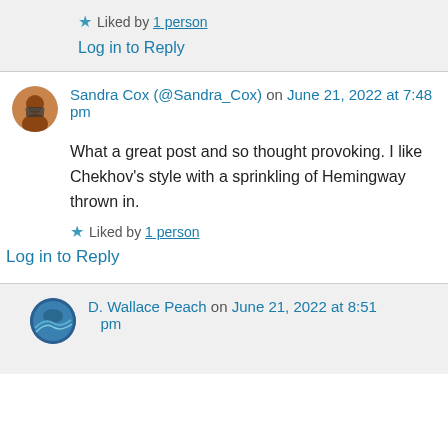★ Liked by 1 person
Log in to Reply
Sandra Cox (@Sandra_Cox) on June 21, 2022 at 7:48 pm
What a great post and so thought provoking. I like Chekhov's style with a sprinkling of Hemingway thrown in.
★ Liked by 1 person
Log in to Reply
D. Wallace Peach on June 21, 2022 at 8:51 pm